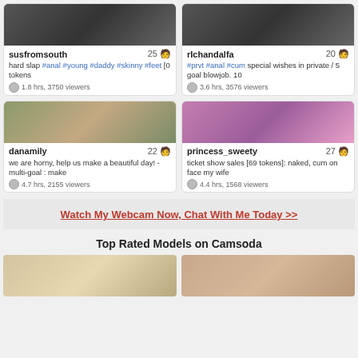[Figure (screenshot): Webcam stream thumbnail for susfromsouth]
susfromsouth 25
hard slap #anal #young #daddy #skinny #feet [0 tokens
1.8 hrs, 3750 viewers
[Figure (screenshot): Webcam stream thumbnail for rIchandalfa]
rIchandalfa 20
#prvt #anal #cum special wishes in private / 5 goal blowjob. 10
3.6 hrs, 3576 viewers
[Figure (screenshot): Webcam stream thumbnail for danamily]
danamily 22
we are horny, help us make a beautiful day! - multi-goal : make
4.7 hrs, 2155 viewers
[Figure (screenshot): Webcam stream thumbnail for princess_sweety]
princess_sweety 27
ticket show sales [69 tokens]: naked, cum on face my wife
4.4 hrs, 1568 viewers
Watch My Webcam Now, Chat With Me Today >>
Top Rated Models on Camsoda
[Figure (screenshot): Webcam stream thumbnail bottom left]
[Figure (screenshot): Webcam stream thumbnail bottom right]